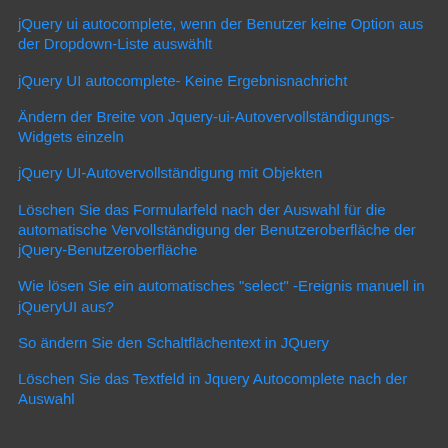jQuery ui autocomplete, wenn der Benutzer keine Option aus der Dropdown-Liste auswählt
jQuery UI autocomplete- Keine Ergebnisnachricht
Ändern der Breite von Jquery-ui-Autovervollständigungs-Widgets einzeln
jQuery UI-Autovervollständigung mit Objekten
Löschen Sie das Formularfeld nach der Auswahl für die automatische Vervollständigung der Benutzeroberfläche der jQuery-Benutzeroberfläche
Wie lösen Sie ein automatisches "select" -Ereignis manuell in jQueryUI aus?
So ändern Sie den Schaltflächentext in JQuery
Löschen Sie das Textfeld in Jquery Autocomplete nach der Auswahl